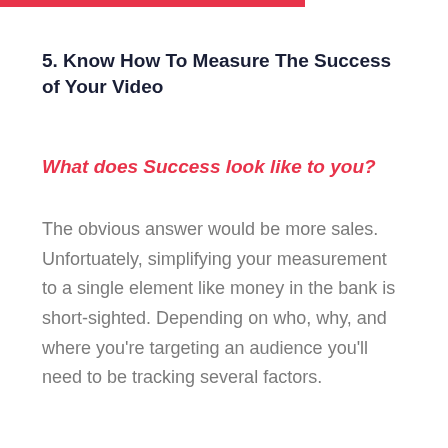5. Know How To Measure The Success of Your Video
What does Success look like to you?
The obvious answer would be more sales. Unfortuately, simplifying your measurement to a single element like money in the bank is short-sighted. Depending on who, why, and where you're targeting an audience you'll need to be tracking several factors.